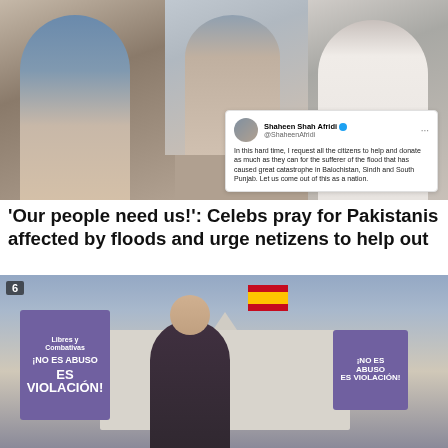[Figure (photo): Collage of three celebrities — a man in a blue vest on the left, a woman in a patterned outfit in the center, and a man in a white shirt on the right — overlaid with a tweet by Shaheen Shah Afridi urging citizens to donate for flood victims in Balochistan, Sindh and South Punjab.]
'Our people need us!': Celebs pray for Pakistanis affected by floods and urge netizens to help out
[Figure (photo): Protesters outside a white ornate building (with a Spanish flag in background) holding purple signs that read '¡No es abuso es violación!' (It's not abuse, it's rape!). Number 6 badge in top-left corner.]